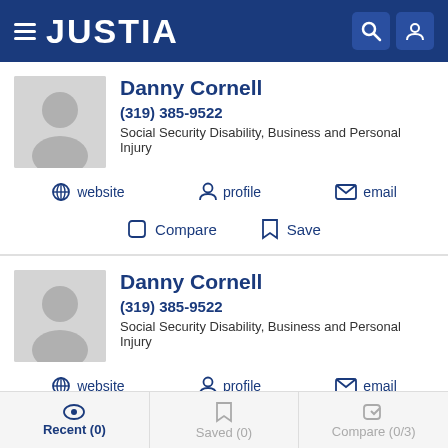JUSTIA
Danny Cornell
(319) 385-9522
Social Security Disability, Business and Personal Injury
website  profile  email
Compare  Save
Danny Cornell
(319) 385-9522
Social Security Disability, Business and Personal Injury
website  profile  email
Recent (0)  Saved (0)  Compare (0/3)